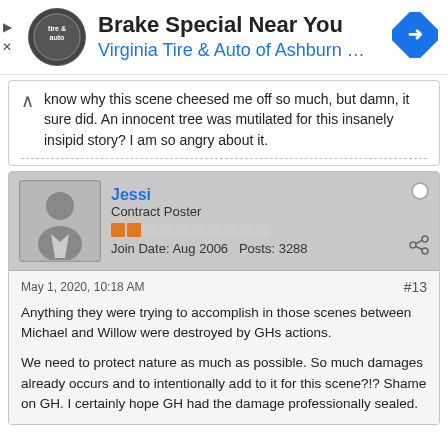[Figure (screenshot): Ad banner for Virginia Tire & Auto of Ashburn with logo, title 'Brake Special Near You', subtitle 'Virginia Tire & Auto of Ashburn ...', and a blue direction arrow icon on the right.]
know why this scene cheesed me off so much, but damn, it sure did. An innocent tree was mutilated for this insanely insipid story? I am so angry about it.
Jessi
Contract Poster
Join Date: Aug 2006  Posts: 3288
May 1, 2020, 10:18 AM
#13
Anything they were trying to accomplish in those scenes between Michael and Willow were destroyed by GHs actions.

We need to protect nature as much as possible. So much damages already occurs and to intentionally add to it for this scene?!? Shame on GH. I certainly hope GH had the damage professionally sealed.